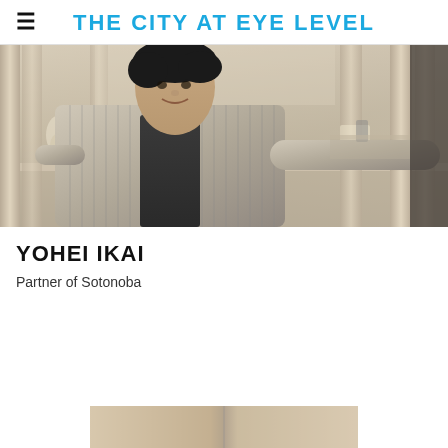THE CITY AT EYE LEVEL
[Figure (photo): Portrait photo of Yohei Ikai standing in a grand marble interior space with classical columns, wearing a striped jacket over a dark shirt, smiling at the camera.]
YOHEI IKAI
Partner of Sotonoba
[Figure (photo): Partial view of another image at the bottom of the page, cropped.]